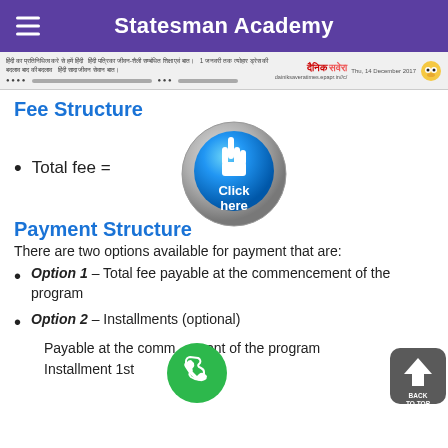Statesman Academy
[Figure (screenshot): Newspaper strip showing Hindi text and Dainik Savera Times masthead with date Thu, 14 December 2017 and website dainiksaveratimes.epapr.in//c/]
Fee Structure
Total fee =
[Figure (illustration): Blue circular 'Click here' button with hand pointer cursor icon]
Payment Structure
There are two options available for payment that are:
Option 1 – Total fee payable at the commencement of the program
Option 2 – Installments (optional)
Payable at the commencement of the program Installment 1st
[Figure (illustration): Green circular phone/call button]
[Figure (illustration): Dark grey rounded back-to-top button with upward arrow and BACK TO TOP label]